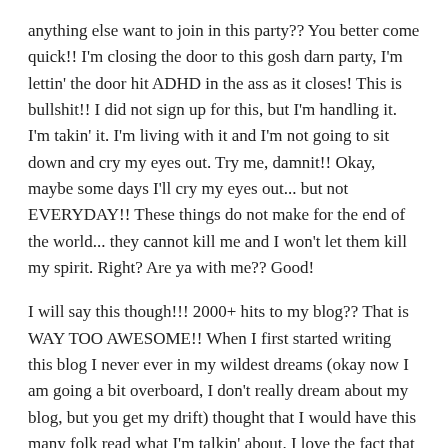anything else want to join in this party?? You better come quick!! I'm closing the door to this gosh darn party, I'm lettin' the door hit ADHD in the ass as it closes! This is bullshit!! I did not sign up for this, but I'm handling it. I'm takin' it. I'm living with it and I'm not going to sit down and cry my eyes out. Try me, damnit!! Okay, maybe some days I'll cry my eyes out... but not EVERYDAY!! These things do not make for the end of the world... they cannot kill me and I won't let them kill my spirit. Right? Are ya with me?? Good!
I will say this though!!! 2000+ hits to my blog?? That is WAY TOO AWESOME!! When I first started writing this blog I never ever in my wildest dreams (okay now I am going a bit overboard, I don't really dream about my blog, but you get my drift) thought that I would have this many folk read what I'm talkin' about. I love the fact that people understand and get what I am talkin' about.
You all have a wonderful and blessed day!! Leave your